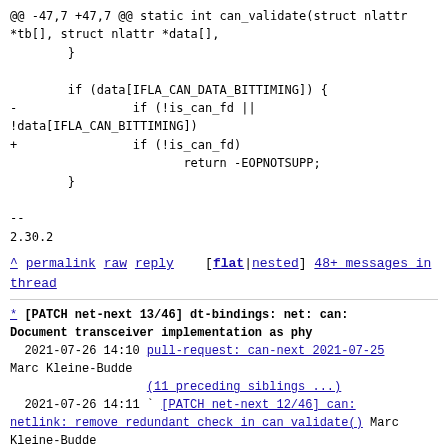@@ -47,7 +47,7 @@ static int can_validate(struct nlattr *tb[], struct nlattr *data[],
        }

        if (data[IFLA_CAN_DATA_BITTIMING]) {
-                if (!is_can_fd ||
!data[IFLA_CAN_BITTIMING])
+                if (!is_can_fd)
                        return -EOPNOTSUPP;
        }

--
2.30.2
^ permalink raw reply [flat|nested] 48+ messages in thread
* [PATCH net-next 13/46] dt-bindings: net: can: Document transceiver implementation as phy
  2021-07-26 14:10 pull-request: can-next 2021-07-25 Marc Kleine-Budde
                   (11 preceding siblings ...)
  2021-07-26 14:11 [PATCH net-next 12/46] can: netlink: remove redundant check in can_validate() Marc Kleine-Budde
@ 2021-07-26 14:11 Marc Kleine-Budde
  2021-07-26 14:11 [PATCH net-next 14/46] can: m can: